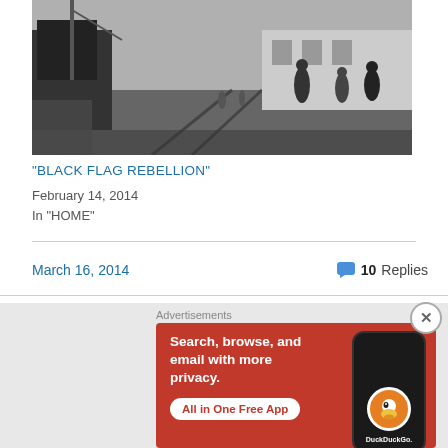[Figure (photo): Black and white historical photograph of a dock/harbor scene with a ship on the left, train tracks on the ground, people walking, and industrial buildings in the background.]
“BLACK FLAG REBELLION”
February 14, 2014
In “HOME”
March 16, 2014
10 Replies
[Figure (screenshot): DuckDuckGo advertisement banner with orange/red background. Text reads: Search, browse, and email with more privacy. All in One Free App. Shows a phone with DuckDuckGo logo.]
Advertisements